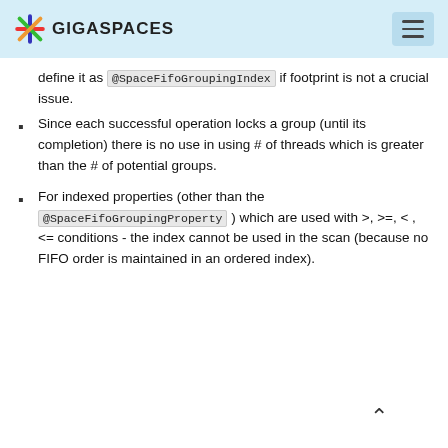GIGASPACES
define it as @SpaceFifoGroupingIndex if footprint is not a crucial issue.
Since each successful operation locks a group (until its completion) there is no use in using # of threads which is greater than the # of potential groups.
For indexed properties (other than the @SpaceFifoGroupingProperty ) which are used with >, >=, < , <= conditions - the index cannot be used in the scan (because no FIFO order is maintained in an ordered index).